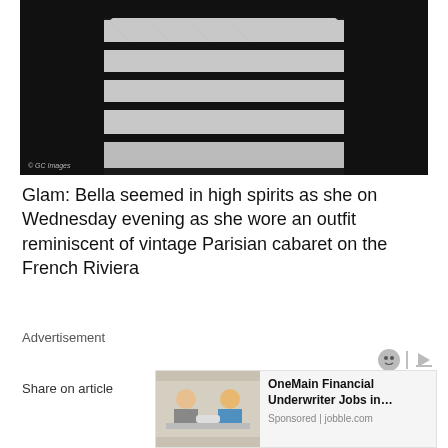[Figure (photo): Photo of a person wearing a white and black striped ruffled/tiered dress reminiscent of vintage Parisian cabaret style, photographed against a dark background. Watermark: © GC Images]
Glam: Bella seemed in high spirits as she on Wednesday evening as she wore an outfit reminiscent of vintage Parisian cabaret on the French Riviera
Advertisement
Share on article
[Figure (other): Advertisement card for OneMain Financial Underwriter Jobs. Shows photo of people in a business meeting handshaking. Sponsored | jobble.com]